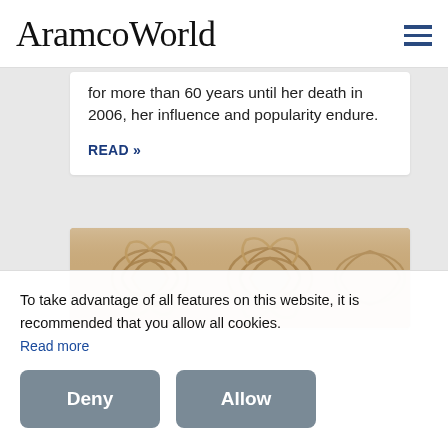AramcoWorld
for more than 60 years until her death in 2006, her influence and popularity endure.
READ »
[Figure (photo): Decorative arabesque metalwork engraving in tan/gold tones with intricate swirling patterns]
To take advantage of all features on this website, it is recommended that you allow all cookies.
Read more
Deny
Allow